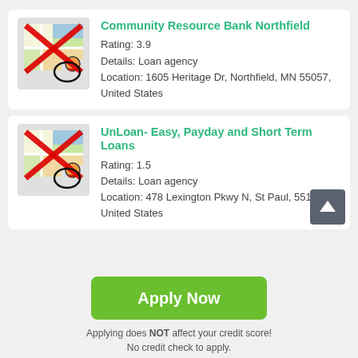[Figure (screenshot): Map icon with red X overlay and orange/red circle for first listing]
Community Resource Bank Northfield
Rating: 3.9
Details: Loan agency
Location: 1605 Heritage Dr, Northfield, MN 55057, United States
[Figure (screenshot): Map icon with red X overlay and orange/red circle for second listing]
UnLoan- Easy, Payday and Short Term Loans
Rating: 1.5
Details: Loan agency
Location: 478 Lexington Pkwy N, St Paul, 55104, United States
Apply Now
Applying does NOT affect your credit score!
No credit check to apply.